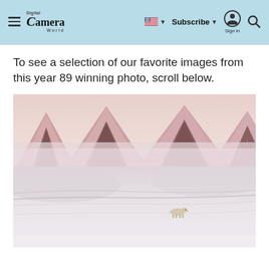Digital Camera World — Subscribe | Sign in
To see a selection of our favorite images from this year 89 winning photo, scroll below.
[Figure (photo): Landscape photograph showing a polar bear walking across a vast snowy plain with pink-hued snow-covered mountain peaks partially obscured by mist/fog in the background. The mountains have dark rock faces with pink alpenglow light. The bear is small against the expansive white landscape.]